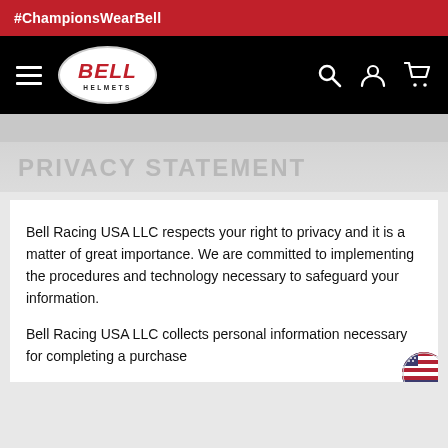#ChampionsWearBell
[Figure (logo): Bell Helmets logo - white oval with red BELL text and HELMETS subtitle, on black navigation bar with hamburger menu, search, account, and cart icons]
PRIVACY STATEMENT
Bell Racing USA LLC respects your right to privacy and it is a matter of great importance. We are committed to implementing the procedures and technology necessary to safeguard your information.
Bell Racing USA LLC collects personal information necessary for completing a purchase